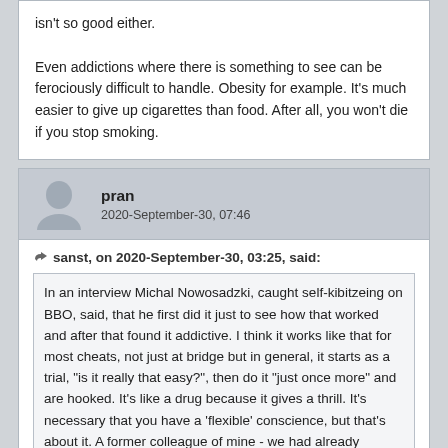isn't so good either.
Even addictions where there is something to see can be ferociously difficult to handle. Obesity for example. It's much easier to give up cigarettes than food. After all, you won't die if you stop smoking.
pran
2020-September-30, 07:46
sanst, on 2020-September-30, 03:25, said:
In an interview Michal Nowosadzki, caught self-kibitzeing on BBO, said, that he first did it just to see how that worked and after that found it addictive. I think it works like that for most cheats, not just at bridge but in general, it starts as a trial, "is it really that easy?", then do it "just once more" and are hooked. It's like a drug because it gives a thrill. It's necessary that you have a 'flexible' conscience, but that's about it. A former colleague of mine - we had already discovered that he wasn't to be trusted - became a con man by just trying how easy it was to get a Mercedes for free from a dealer. He started a career in fraude, including getting a job at top management of the largest telecom provider in the